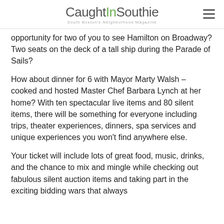CaughtInSouthie — South Boston's Neighborhood Magazine
opportunity for two of you to see Hamilton on Broadway? Two seats on the deck of a tall ship during the Parade of Sails?
How about dinner for 6 with Mayor Marty Walsh – cooked and hosted Master Chef Barbara Lynch at her home? With ten spectacular live items and 80 silent items, there will be something for everyone including trips, theater experiences, dinners, spa services and unique experiences you won't find anywhere else.
Your ticket will include lots of great food, music, drinks, and the chance to mix and mingle while checking out fabulous silent auction items and taking part in the exciting bidding wars that always